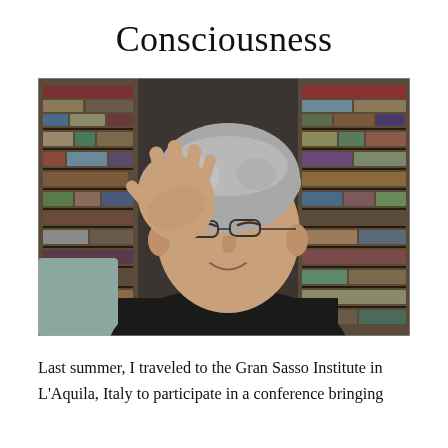Consciousness
[Figure (photo): A middle-aged man with gray hair and glasses, wearing a black top, gesturing with his right hand raised, seated in front of a large bookshelf filled with books.]
Last summer, I traveled to the Gran Sasso Institute in L'Aquila, Italy to participate in a conference bringing